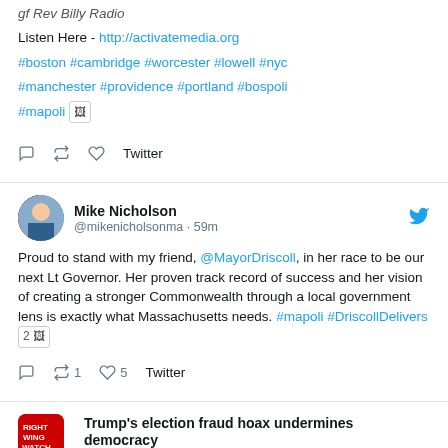gf Rev Billy Radio
Listen Here - http://activatemedia.org
#boston #cambridge #worcester #lowell #nyc
#manchester #providence #portland #bospoli
#mapoli [image icon]
Twitter actions: reply, retweet, like, Twitter
Mike Nicholson @mikenicholsonma · 59m
Proud to stand with my friend, @MayorDriscoll, in her race to be our next Lt Governor. Her proven track record of success and her vision of creating a stronger Commonwealth through a local government lens is exactly what Massachusetts needs. #mapoli #DriscollDelivers 2 [image icon]
Twitter actions: reply, retweet 1, like 5, Twitter
Trump's election fraud hoax undermines democracy